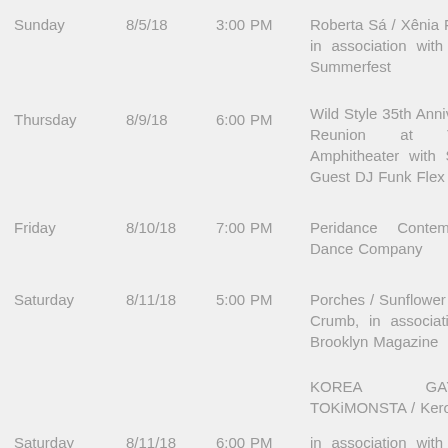| Day | Date | Time | Event |
| --- | --- | --- | --- |
| Sunday | 8/5/18 | 3:00 PM | Roberta Sá / Xênia Fra... in association with Br... Summerfest |
| Thursday | 8/9/18 | 6:00 PM | Wild Style 35th Annivers... Reunion at T... Amphitheater with Spe... Guest DJ Funk Flex |
| Friday | 8/10/18 | 7:00 PM | Peridance Contempor... Dance Company |
| Saturday | 8/11/18 | 5:00 PM | Porches / Sunflower Bea... Crumb, in association w... Brooklyn Magazine |
|  |  |  | KOREA GAYC... TOKiMONSTA / Kero C... |
| Saturday | 8/11/18 | 6:00 PM | in association with Kore... |